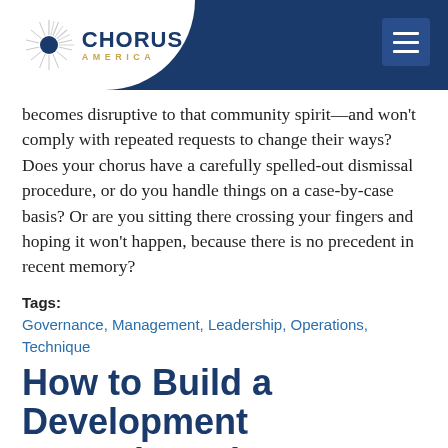[Figure (logo): Chorus America logo with sunburst graphic, navy blue header bar, and hamburger menu icon]
becomes disruptive to that community spirit—and won't comply with repeated requests to change their ways? Does your chorus have a carefully spelled-out dismissal procedure, or do you handle things on a case-by-case basis? Or are you sitting there crossing your fingers and hoping it won't happen, because there is no precedent in recent memory?
Tags: Governance, Management, Leadership, Operations, Technique
How to Build a Development Committee that